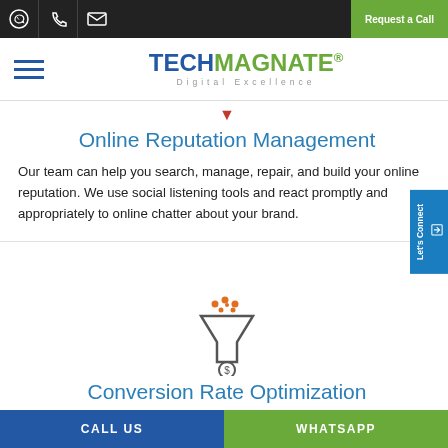TechMagnate Digital Excellence — Request a Call
[Figure (logo): TechMagnate logo with hamburger menu icon]
Online Reputation Management
Our team can help you search, manage, repair, and build your online reputation. We use social listening tools and react promptly and appropriately to online chatter about your brand.
[Figure (illustration): Funnel/conversion icon with orange dots above and dollar sign in funnel base]
Conversion Rate Optimization
Conversion Rate optimization is the process of making your website more compelling, while driving specific
CALL US   WHATSAPP